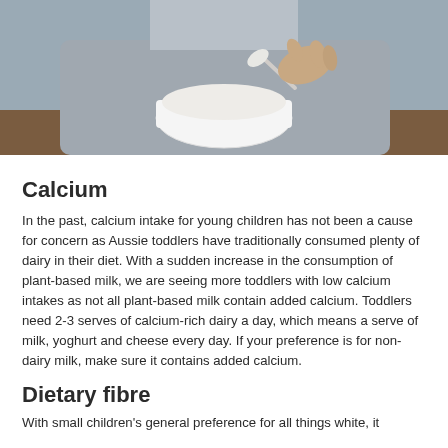[Figure (photo): Child holding a spoon over a white bowl filled with white food (rice or porridge), seated at a wooden table, wearing a grey top.]
Calcium
In the past, calcium intake for young children has not been a cause for concern as Aussie toddlers have traditionally consumed plenty of dairy in their diet. With a sudden increase in the consumption of plant-based milk, we are seeing more toddlers with low calcium intakes as not all plant-based milk contain added calcium. Toddlers need 2-3 serves of calcium-rich dairy a day, which means a serve of milk, yoghurt and cheese every day. If your preference is for non-dairy milk, make sure it contains added calcium.
Dietary fibre
With small children's general preference for all things white, it